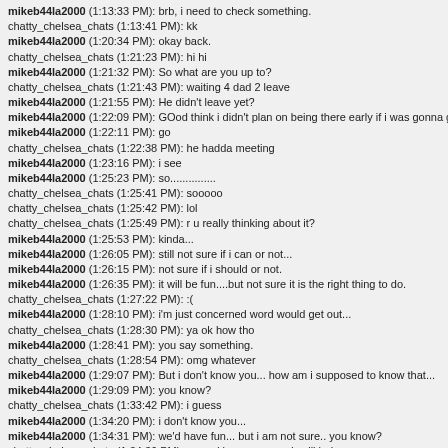mikeb44la2000 (1:13:33 PM): brb, i need to check something.
chatty_chelsea_chats (1:13:41 PM): kk
mikeb44la2000 (1:20:34 PM): okay back.
chatty_chelsea_chats (1:21:23 PM): hi hi
mikeb44la2000 (1:21:32 PM): So what are you up to?
chatty_chelsea_chats (1:21:43 PM): waiting 4 dad 2 leave
mikeb44la2000 (1:21:55 PM): He didn't leave yet?
mikeb44la2000 (1:22:09 PM): GOod think i didn't plan on being there early if i was gonna god.
mikeb44la2000 (1:22:11 PM): go
chatty_chelsea_chats (1:22:38 PM): he hadda meeting
mikeb44la2000 (1:23:16 PM): i see
mikeb44la2000 (1:25:23 PM): so...............
chatty_chelsea_chats (1:25:41 PM): sooooo
chatty_chelsea_chats (1:25:42 PM): lol
chatty_chelsea_chats (1:25:49 PM): r u really thinking about it?
mikeb44la2000 (1:25:53 PM): kinda...
mikeb44la2000 (1:26:05 PM): still not sure if i can or not...
mikeb44la2000 (1:26:15 PM): not sure if i should or not.
mikeb44la2000 (1:26:35 PM): it will be fun....but not sure it is the right thing to do.
chatty_chelsea_chats (1:27:22 PM): :(
mikeb44la2000 (1:28:10 PM): i'm just concerned word would get out...
chatty_chelsea_chats (1:28:30 PM): ya ok how tho
mikeb44la2000 (1:28:41 PM): you say something.
chatty_chelsea_chats (1:28:54 PM): omg whatever
mikeb44la2000 (1:29:07 PM): But i don't know you... how am i supposed to know that...
mikeb44la2000 (1:29:09 PM): you know?
chatty_chelsea_chats (1:33:42 PM): i guess
mikeb44la2000 (1:34:20 PM): i don't know you...
mikeb44la2000 (1:34:31 PM): we'd have fun... but i am not sure.. you know?
chatty_chelsea_chats (1:34:36 PM): ya and i guess u nevdr will huh
mikeb44la2000 (1:35:19 PM): what time, if i do?
chatty_chelsea_chats (1:35:37 PM): after the maid comes lol
chatty_chelsea_chats (1:35:42 PM): i think shed notis u
mikeb44la2000 (1:35:54 PM): lol
mikeb44la2000 (1:35:56 PM): what time is that?
mikeb44la2000 (1:36:01 PM): why would she notice?
chatty_chelsea_chats (1:36:16 PM): if u were here or i wasnt lol
mikeb44la2000 (1:36:44 PM): i thought you meant cause i'd be naked. LOL